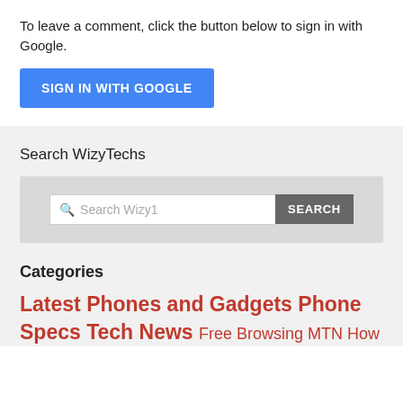To leave a comment, click the button below to sign in with Google.
[Figure (other): Blue 'SIGN IN WITH GOOGLE' button]
Search WizyTechs
[Figure (other): Search widget with input field showing 'Search Wizy1' placeholder and a dark grey SEARCH button]
Categories
Latest Phones and Gadgets Phone Specs Tech News Free Browsing MTN How